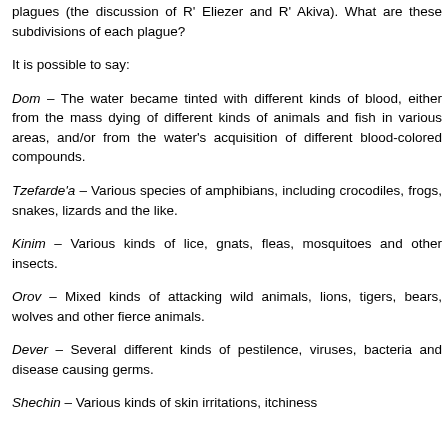plagues (the discussion of R' Eliezer and R' Akiva). What are these subdivisions of each plague?
It is possible to say:
Dom – The water became tinted with different kinds of blood, either from the mass dying of different kinds of animals and fish in various areas, and/or from the water's acquisition of different blood-colored compounds.
Tzefarde'a – Various species of amphibians, including crocodiles, frogs, snakes, lizards and the like.
Kinim – Various kinds of lice, gnats, fleas, mosquitoes and other insects.
Orov – Mixed kinds of attacking wild animals, lions, tigers, bears, wolves and other fierce animals.
Dever – Several different kinds of pestilence, viruses, bacteria and disease causing germs.
Shechin – Various kinds of skin irritations, itchiness...